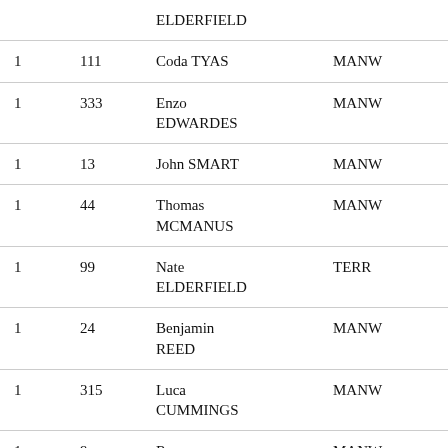|  |  | ELDERFIELD |  |  |
| 1 | 111 | Coda TYAS | MANW | Finish |
| 1 | 333 | Enzo EDWARDES | MANW | Finish |
| 1 | 13 | John SMART | MANW | Finish |
| 1 | 44 | Thomas MCMANUS | MANW | Finish |
| 1 | 99 | Nate ELDERFIELD | TERR | Finish |
| 1 | 24 | Benjamin REED | MANW | Finish |
| 1 | 315 | Luca CUMMINGS | MANW | Finish |
| 1 | 9 | Rex BROUTING | MANW | Finish |